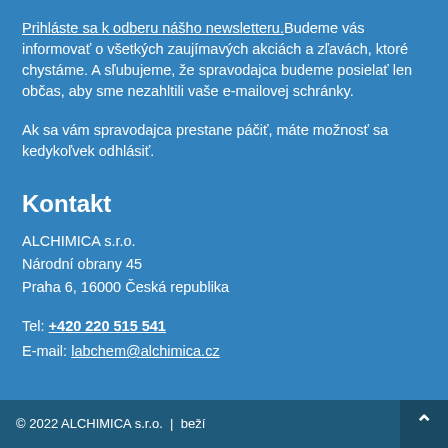Prihláste sa k odberu nášho newsletteru. Budeme vás informovať o všetkých zaujímavých akciách a zľavách, ktoré chystáme. A sľubujeme, že spravodajca budeme posielať len občas, aby sme nezahltili vaše e-mailovej schránky.
Ak sa vám spravodajca prestane páčiť, máte možnosť sa kedykoľvek odhlásiť.
Kontakt
ALCHIMICA s.r.o.
Národní obrany 45
Praha 6, 16000 Česká republika
Tel: +420 220 515 541
E-mail: labchem@alchimica.cz
© 2022 ALCHIMICA s.r.o. | beží